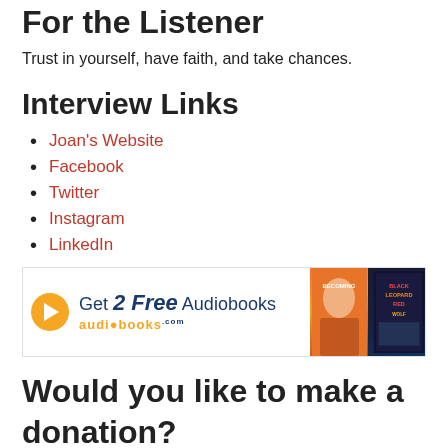For the Listener
Trust in yourself, have faith, and take chances.
Interview Links
Joan's Website
Facebook
Twitter
Instagram
LinkedIn
[Figure (infographic): Advertisement banner: Get 2 Free Audiobooks from audiobooks.com, with orange play button icon and book covers on the right]
Would you like to make a donation?